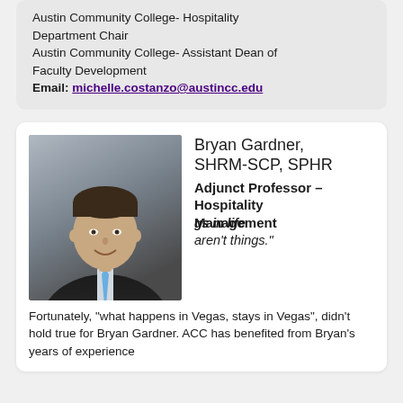Austin Community College- Hospitality Department Chair
Austin Community College- Assistant Dean of Faculty Development
Email: michelle.costanzo@austincc.edu
Bryan Gardner, SHRM-SCP, SPHR
Adjunct Professor – Hospitality Management
[Figure (photo): Professional headshot of Bryan Gardner, a man in a dark suit and blue tie, smiling, against a gray background]
"The best things in life aren't things."
Fortunately, "what happens in Vegas, stays in Vegas", didn't hold true for Bryan Gardner. ACC has benefited from Bryan's years of experience